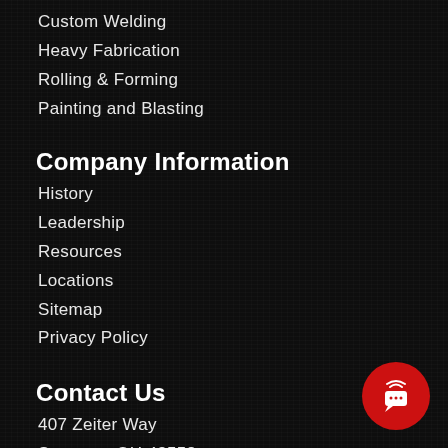Custom Welding
Heavy Fabrication
Rolling & Forming
Painting and Blasting
Company Information
History
Leadership
Resources
Locations
Sitemap
Privacy Policy
Contact Us
407 Zeiter Way
Swanton, OH 43558
Phone:419-826-4816